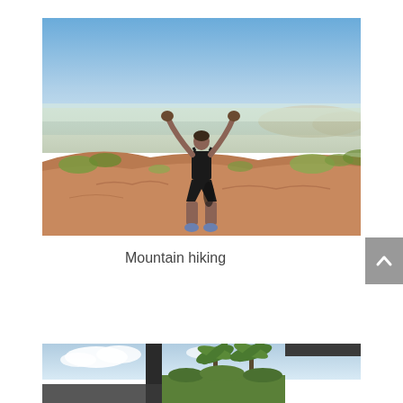[Figure (photo): Woman standing on a rocky red mountain summit with arms raised, overlooking a vast city spread below, blue sky above, desert vegetation visible on the hillside.]
Mountain hiking
[Figure (photo): Partial view of a building with palm trees and blue sky in the background, appearing to be a resort or hotel setting.]